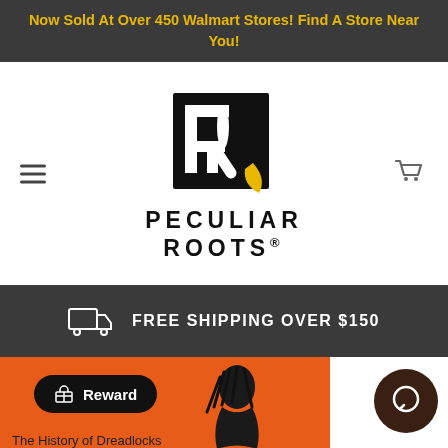Now Sold At Over 450 Walmart Stores! Find A Store Near You!
[Figure (logo): Peculiar Roots logo: black square with stylized PR monogram and gold beak/feather accent, text PECULIAR ROOTS below]
FREE SHIPPING OVER $150
[Figure (infographic): Bottom section showing orange card with dreadlocked figure illustration, Reward button, chat bubble icon, and partial text 'The History of Dreadlocks']